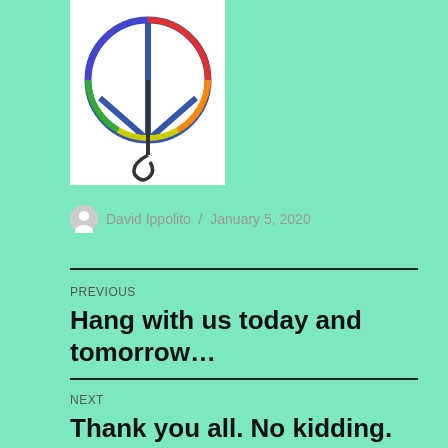[Figure (illustration): A colorful hand-drawn peace sign combined with a musical note, drawn in rainbow colors on a white background.]
David Ippolito / January 5, 2020
PREVIOUS
Hang with us today and tomorrow...
NEXT
Thank you all. No kidding.